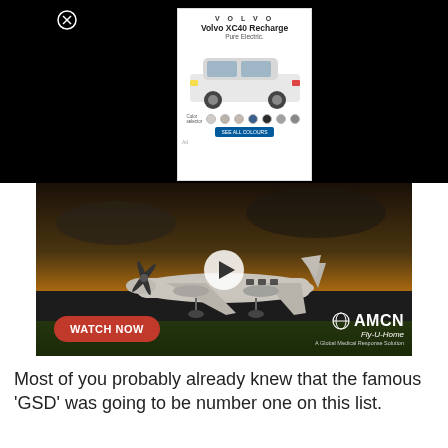[Figure (screenshot): Black banner area with Volvo XC40 Recharge advertisement overlay showing car image, color swatches, and a close button]
[Figure (screenshot): Video thumbnail showing a twin-propeller aircraft on a runway with dark stormy sky background, a play button, WATCH NOW button in red, and AMCN Fly-U-Home A Global Medical Response Solution logo]
Most of you probably already knew that the famous ‘GSD’ was going to be number one on this list.